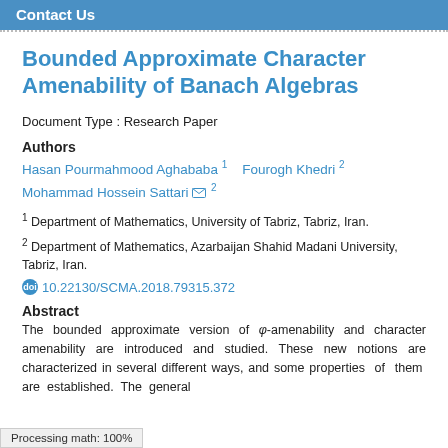Contact Us
Bounded Approximate Character Amenability of Banach Algebras
Document Type : Research Paper
Authors
Hasan Pourmahmood Aghababa 1   Fourogh Khedri 2  Mohammad Hossein Sattari ✉ 2
1 Department of Mathematics, University of Tabriz, Tabriz, Iran.
2 Department of Mathematics, Azarbaijan Shahid Madani University, Tabriz, Iran.
10.22130/SCMA.2018.79315.372
Abstract
The bounded approximate version of φ-amenability and character amenability are introduced and studied. These new notions are characterized in several different ways, and some properties of them are established. The general